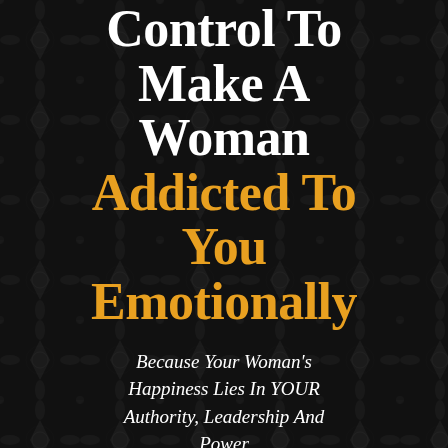Control To Make A Woman Addicted To You Emotionally
Because Your Woman's Happiness Lies In YOUR Authority, Leadership And Power